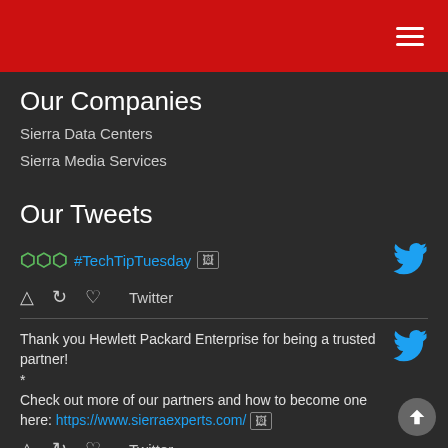Navigation menu header bar with hamburger icon
Our Companies
Sierra Data Centers
Sierra Media Services
Our Tweets
🌿🌿🌿 #TechTipTuesday 🖼 [Twitter bird icon]
Tweet actions: comment, retweet, like, Twitter
Thank you Hewlett Packard Enterprise for being a trusted partner!
*
Check out more of our partners and how to become one here: https://www.sierraexperts.com/ 🖼
Tweet actions row (bottom)